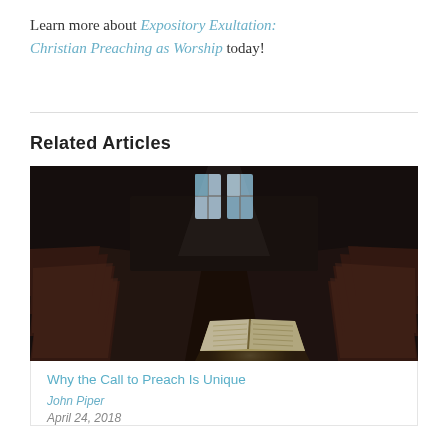Learn more about Expository Exultation: Christian Preaching as Worship today!
Related Articles
[Figure (photo): Dark interior of a church with wooden pews on either side leading to an open Bible illuminated in spotlight on a lectern, stained glass windows visible in background]
Why the Call to Preach Is Unique
John Piper
April 24, 2018